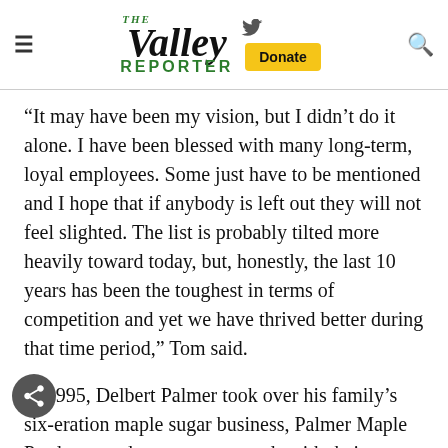The Valley Reporter
“It may have been my vision, but I didn’t do it alone. I have been blessed with many long-term, loyal employees. Some just have to be mentioned and I hope that if anybody is left out they will not feel slighted. The list is probably tilted more heavily toward today, but, honestly, the last 10 years has been the toughest in terms of competition and yet we have thrived better during that time period,” Tom said.
In 1995, Delbert Palmer took over his family’s six-eration maple sugar business, Palmer Maple Products, and won many awards with their